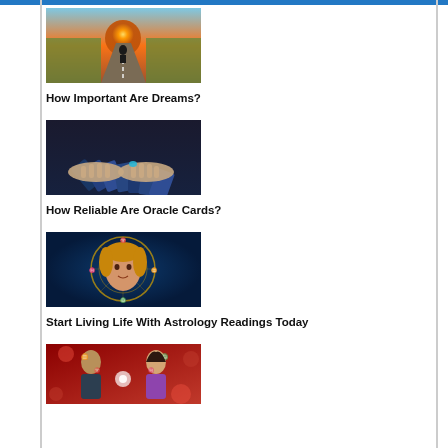[Figure (photo): Person walking down a road toward a bright sunset, viewed from behind]
How Important Are Dreams?
[Figure (photo): Hands with painted nails holding spread playing or tarot cards on a dark surface]
How Reliable Are Oracle Cards?
[Figure (photo): Woman's face surrounded by astrology zodiac wheel symbols on a blue mystical background]
Start Living Life With Astrology Readings Today
[Figure (photo): Man and woman facing each other with zodiac symbols overlaid on a red floral background]